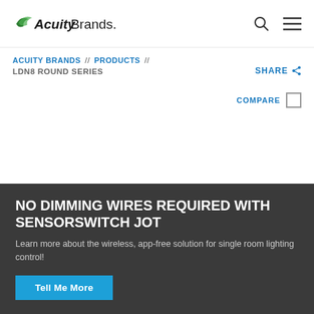Acuity Brands
ACUITY BRANDS // PRODUCTS //
LDN8 ROUND SERIES
SHARE
COMPARE
NO DIMMING WIRES REQUIRED WITH SENSORSWITCH JOT
Learn more about the wireless, app-free solution for single room lighting control!
Tell Me More